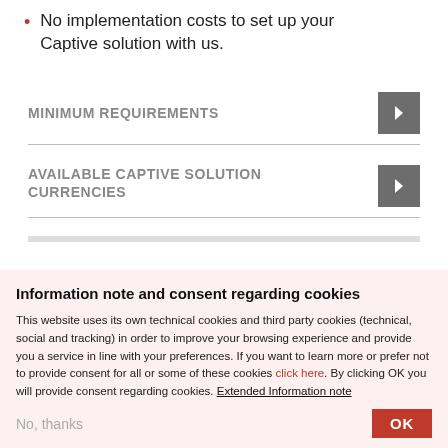No implementation costs to set up your Captive solution with us.
MINIMUM REQUIREMENTS
AVAILABLE CAPTIVE SOLUTION CURRENCIES
Information note and consent regarding cookies
This website uses its own technical cookies and third party cookies (technical, social and tracking) in order to improve your browsing experience and provide you a service in line with your preferences. If you want to learn more or prefer not to provide consent for all or some of these cookies click here. By clicking OK you will provide consent regarding cookies. Extended Information note
No, thanks
OK